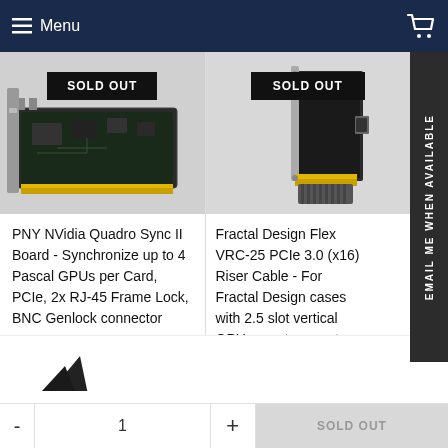Menu
[Figure (photo): PNY NVidia Quadro Sync II Board PCIe card with SOLD OUT badge]
[Figure (photo): Fractal Design Flex VRC-25 PCIe 3.0 riser cable with SOLD OUT badge]
PNY NVidia Quadro Sync II Board - Synchronize up to 4 Pascal GPUs per Card, PCIe, 2x RJ-45 Frame Lock, BNC Genlock connector
Fractal Design Flex VRC-25 PCIe 3.0 (x16) Riser Cable - For Fractal Design cases with 2.5 slot vertical GPU mount support only
£75416
£3752
SOLD OUT